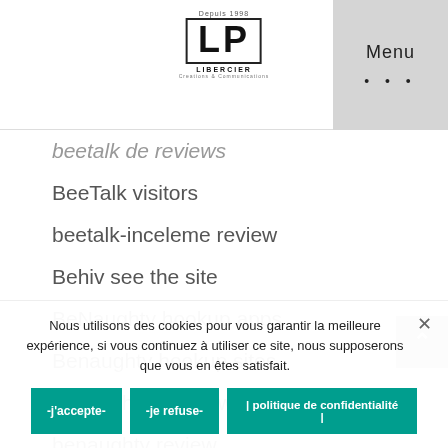Depuis 1998 LP LIBERCIER | Menu
beetalk de reviews
BeeTalk visitors
beetalk-inceleme review
Behiv see the site
BeNaughty hookup apps
Benaughty hookup sites
benaughty it review
benaughty review
benaughty sign in
bend dating
bend hookup site
Nous utilisons des cookies pour vous garantir la meilleure expérience, si vous continuez à utiliser ce site, nous supposerons que vous en êtes satisfait.
-j'accepte- | -je refuse- | | politique de confidentialité |